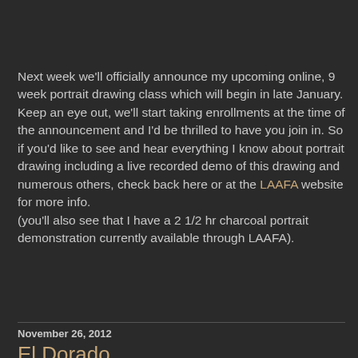Next week we'll officially announce my upcoming online, 9 week portrait drawing class which will begin in late January. Keep an eye out, we'll start taking enrollments at the time of the announcement and I'd be thrilled to have you join in. So if you'd like to see and hear everything I know about portrait drawing including a live recorded demo of this drawing and numerous others, check back here or at the LAAFA website for more info.
(you'll also see that I have a 2 1/2 hr charcoal portrait demonstration currently available through LAAFA).
Share
November 26, 2012
El Dorado